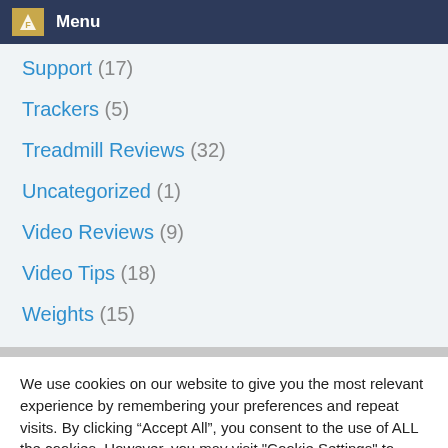Menu
Support (17)
Trackers (5)
Treadmill Reviews (32)
Uncategorized (1)
Video Reviews (9)
Video Tips (18)
Weights (15)
We use cookies on our website to give you the most relevant experience by remembering your preferences and repeat visits. By clicking “Accept All”, you consent to the use of ALL the cookies. However, you may visit "Cookie Settings" to provide a controlled consent.
Cookie Settings | Accept All